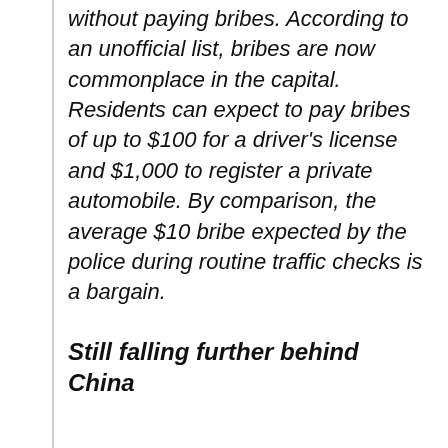without paying bribes. According to an unofficial list, bribes are now commonplace in the capital. Residents can expect to pay bribes of up to $100 for a driver's license and $1,000 to register a private automobile. By comparison, the average $10 bribe expected by the police during routine traffic checks is a bargain.
Still falling further behind China